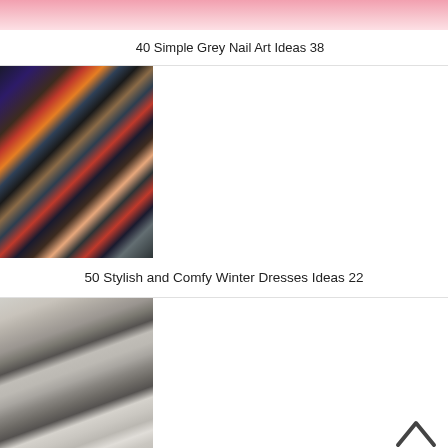[Figure (photo): Partially visible pink/nail art image at top of page, cropped]
40 Simple Grey Nail Art Ideas 38
[Figure (photo): Photo of a person wearing a dark floral long-sleeve dress, shot from side, with street background]
50 Stylish and Comfy Winter Dresses Ideas 22
[Figure (photo): Photo of a forearm with a detailed floral rose tattoo on an arm]
50 Stunning Rose Tattoos On Forearm for Women Ideas 34